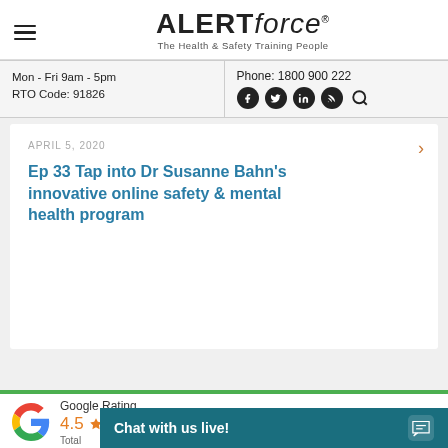[Figure (logo): AlertForce logo with hamburger menu icon. Text: ALERT in bold uppercase, force in italic. Tagline: The Health & Safety Training People]
Mon - Fri 9am - 5pm
RTO Code: 91826
Phone: 1800 900 222
[Figure (other): Social media icons: Facebook, Twitter, LinkedIn, RSS, Search]
APRIL 5, 2020
Ep 33 Tap into Dr Susanne Bahn's innovative online safety & mental health program
[Figure (other): Google Rating widget showing 4.5 stars and text 'Google Rating'. Google G logo in red/blue/yellow/green colors.]
Chat with us live!